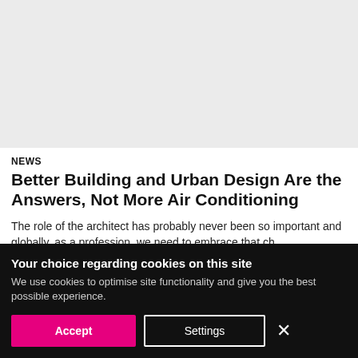[Figure (photo): Light gray placeholder image area at top of page]
NEWS
Better Building and Urban Design Are the Answers, Not More Air Conditioning
The role of the architect has probably never been so important and globally, as a profession, we need to embrace that ch…
Your choice regarding cookies on this site
We use cookies to optimise site functionality and give you the best possible experience.
Accept   Settings   ×